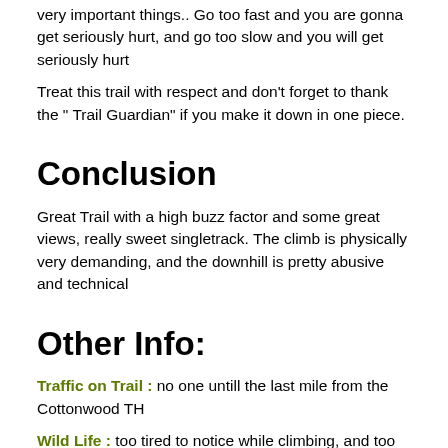very important things.. Go too fast and you are gonna get seriously hurt, and go too slow and you will get seriously hurt
Treat this trail with respect and don't forget to thank the " Trail Guardian" if you make it down in one piece.
Conclusion
Great Trail with a high buzz factor and some great views, really sweet singletrack. The climb is physically very demanding, and the downhill is pretty abusive and technical
Other Info:
Traffic on Trail : no one untill the last mile from the Cottonwood TH
Wild Life : too tired to notice while climbing, and too much concentration on the downhill to notice